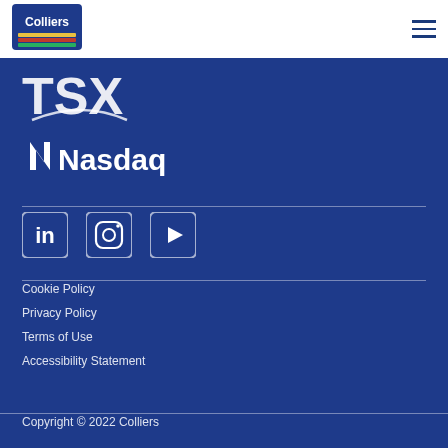[Figure (logo): Colliers company logo — blue square background with white 'Colliers' text and colored stripes]
[Figure (logo): TSX (Toronto Stock Exchange) logo in white, partially visible]
[Figure (logo): Nasdaq logo in white — stylized N followed by 'Nasdaq' text]
[Figure (infographic): Social media icons row: LinkedIn, Instagram, YouTube]
Cookie Policy
Privacy Policy
Terms of Use
Accessibility Statement
Copyright © 2022 Colliers